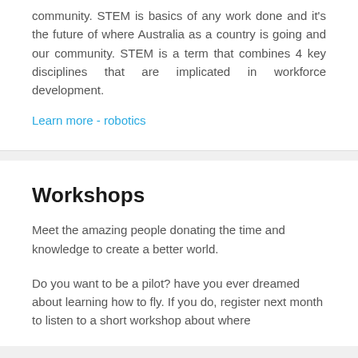community. STEM is basics of any work done and it's the future of where Australia as a country is going and our community. STEM is a term that combines 4 key disciplines that are implicated in workforce development.
Learn more - robotics
Workshops
Meet the amazing people donating the time and knowledge to create a better world.
Do you want to be a pilot? have you ever dreamed about learning how to fly. If you do, register next month to listen to a short workshop about where flying begins, about learning. Below you can learn the